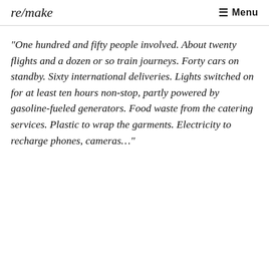re/make  ☰ Menu
“One hundred and fifty people involved. About twenty flights and a dozen or so train journeys. Forty cars on standby. Sixty international deliveries. Lights switched on for at least ten hours non-stop, partly powered by gasoline-fueled generators. Food waste from the catering services. Plastic to wrap the garments. Electricity to recharge phones, cameras…”